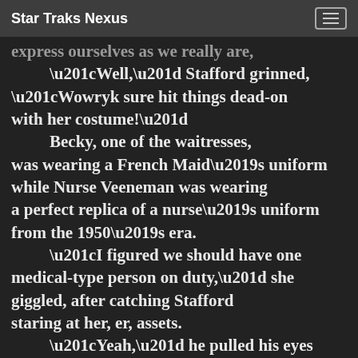Star Traks Nexus
express ourselves as we really are,
“Well,” Stafford grinned, “Wowryk sure hit things dead-on with her costume!”
	Becky, one of the waitresses, was wearing a French Maid’s uniform while Nurse Veeneman was wearing a perfect replica of a nurse’s uniform from the 1950’s era.
“I figured we should have one medical-type person on duty,” she giggled, after catching Stafford staring at her, er, assets.
“Yeah,” he pulled his eyes away